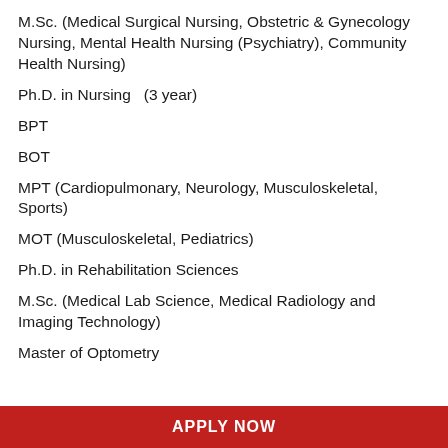M.Sc. (Medical Surgical Nursing, Obstetric & Gynecology Nursing, Mental Health Nursing (Psychiatry), Community Health Nursing)
Ph.D. in Nursing  (3 year)
BPT
BOT
MPT (Cardiopulmonary, Neurology, Musculoskeletal, Sports)
MOT (Musculoskeletal, Pediatrics)
Ph.D. in Rehabilitation Sciences
M.Sc. (Medical Lab Science, Medical Radiology and Imaging Technology)
Master of Optometry
APPLY NOW